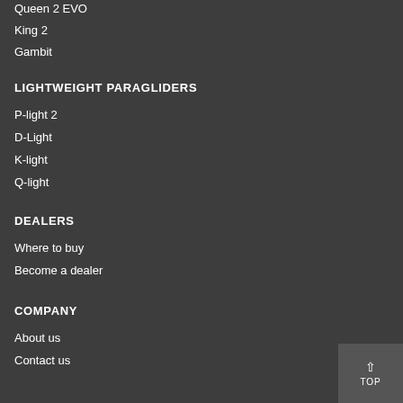Queen 2 EVO
King 2
Gambit
LIGHTWEIGHT PARAGLIDERS
P-light 2
D-Light
K-light
Q-light
DEALERS
Where to buy
Become a dealer
COMPANY
About us
Contact us